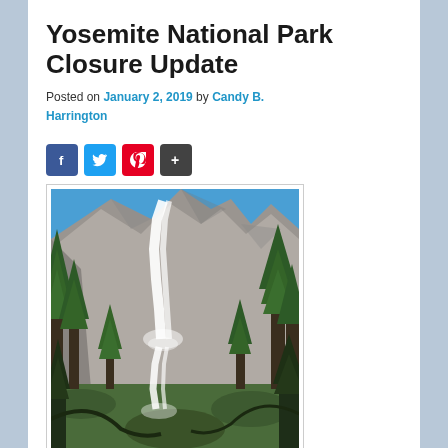Yosemite National Park Closure Update
Posted on January 2, 2019 by Candy B. Harrington
[Figure (other): Social media share buttons: Facebook (blue), Twitter (light blue), Pinterest (red), Share/Add (dark grey)]
[Figure (photo): Photograph of Yosemite Falls waterfall with granite cliffs and green trees under a blue sky]